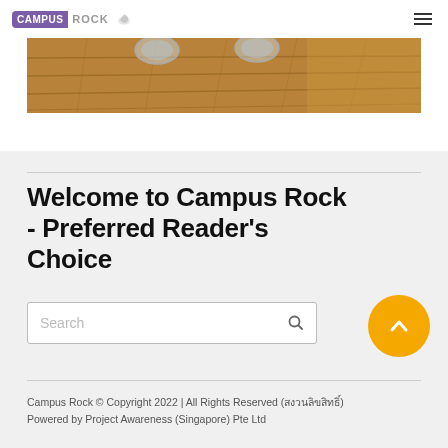CAMPUS ROCK
[Figure (photo): Hero banner showing a wooden table surface with glasses of water, warm brown tones]
Welcome to Campus Rock - Preferred Reader's Choice
Search
Campus Rock © Copyright 2022 | All Rights Reserved (สงวนลิขสิทธิ์)
Powered by Project Awareness (Singapore) Pte Ltd